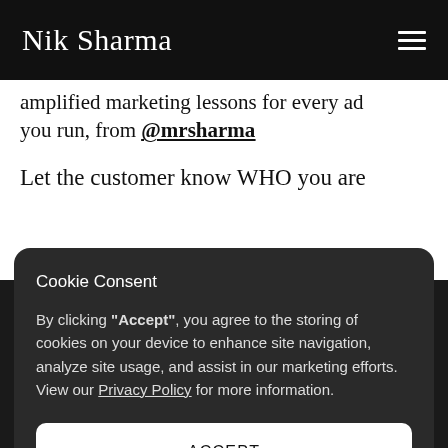Nik Sharma
amplified marketing lessons for every ad you run, from @mrsharma

Let the customer know WHO you are
Cookie Consent
By clicking "Accept", you agree to the storing of cookies on your device to enhance site navigation, analyze site usage, and assist in our marketing efforts. View our Privacy Policy for more information.
ACCEPT